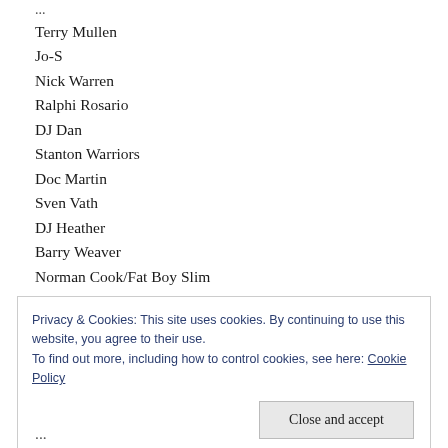Terry Mullen
Jo-S
Nick Warren
Ralphi Rosario
DJ Dan
Stanton Warriors
Doc Martin
Sven Vath
DJ Heather
Barry Weaver
Norman Cook/Fat Boy Slim
Armin van Buuren
Privacy & Cookies: This site uses cookies. By continuing to use this website, you agree to their use.
To find out more, including how to control cookies, see here: Cookie Policy
Close and accept